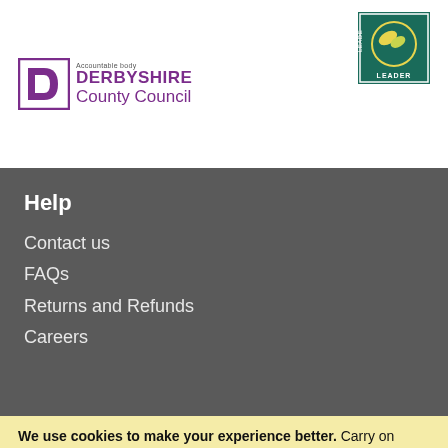[Figure (logo): Derbyshire County Council logo with purple 'D' shield icon and text 'Accountable body', 'DERBYSHIRE County Council' in purple]
[Figure (logo): LEADER programme logo - circular emblem with green and yellow design on teal square background with 'LEADER' text]
Help
Contact us
FAQs
Returns and Refunds
Careers
We use cookies to make your experience better. Carry on browsing if you're happy with this, find out more here.